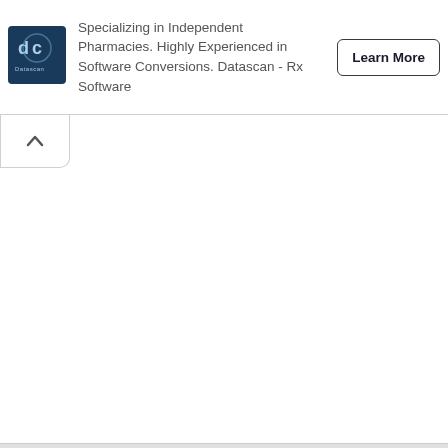[Figure (logo): Datascan company logo — blue square with stylized DC letters and Datascan text]
Specializing in Independent Pharmacies. Highly Experienced in Software Conversions. Datascan - Rx Software
Learn More